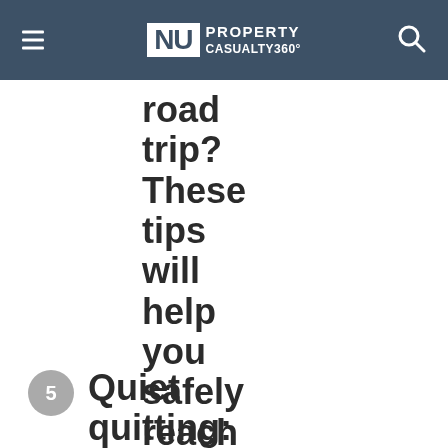NU PROPERTY CASUALTY360°
road trip? These tips will help you safely reach your destination
5 Quiet quitting: Is it more than just a better work-